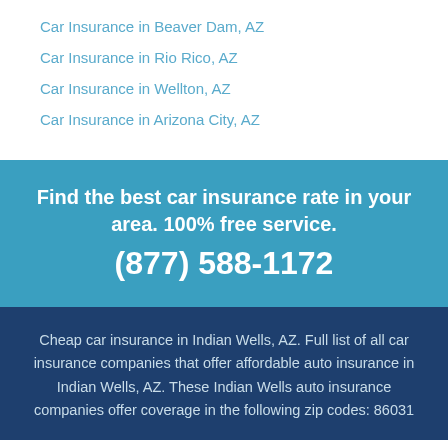Car Insurance in Beaver Dam, AZ
Car Insurance in Rio Rico, AZ
Car Insurance in Wellton, AZ
Car Insurance in Arizona City, AZ
Find the best car insurance rate in your area. 100% free service. (877) 588-1172
Cheap car insurance in Indian Wells, AZ. Full list of all car insurance companies that offer affordable auto insurance in Indian Wells, AZ. These Indian Wells auto insurance companies offer coverage in the following zip codes: 86031